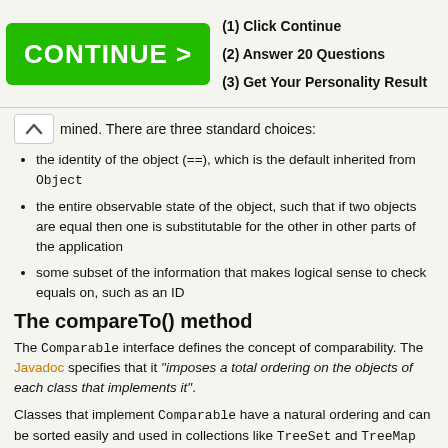[Figure (other): Advertisement banner with green CONTINUE > button and three steps: (1) Click Continue, (2) Answer 20 Questions, (3) Get Your Personality Result]
mined. There are three standard choices:
the identity of the object (==), which is the default inherited from Object
the entire observable state of the object, such that if two objects are equal then one is substitutable for the other in other parts of the application
some subset of the information that makes logical sense to check equals on, such as an ID
The compareTo() method
The Comparable interface defines the concept of comparability. The Javadoc specifies that it "imposes a total ordering on the objects of each class that implements it".
Classes that implement Comparable have a natural ordering and can be sorted easily and used in collections like TreeSet and TreeMap without a separate Comparator.
The interface is well-defined, in that it specifies that the implementation must ensure a form of symmetry and transitive behaviour, just like equals(). It does not specify exactly how the comparison should be made, but defines the concept of consistency with equals.